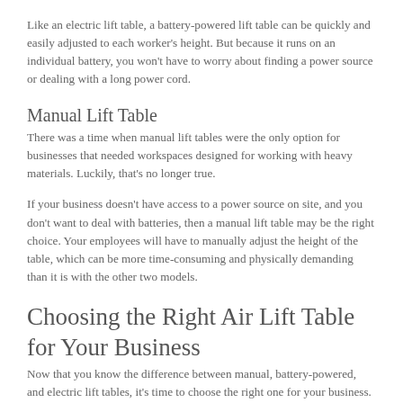Like an electric lift table, a battery-powered lift table can be quickly and easily adjusted to each worker's height. But because it runs on an individual battery, you won't have to worry about finding a power source or dealing with a long power cord.
Manual Lift Table
There was a time when manual lift tables were the only option for businesses that needed workspaces designed for working with heavy materials. Luckily, that's no longer true.
If your business doesn't have access to a power source on site, and you don't want to deal with batteries, then a manual lift table may be the right choice. Your employees will have to manually adjust the height of the table, which can be more time-consuming and physically demanding than it is with the other two models.
Choosing the Right Air Lift Table for Your Business
Now that you know the difference between manual, battery-powered, and electric lift tables, it's time to choose the right one for your business.